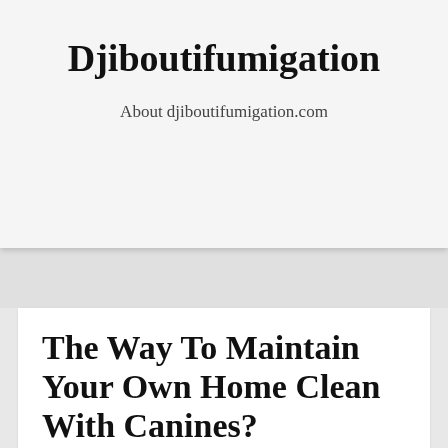Djiboutifumigation
About djiboutifumigation.com
The Way To Maintain Your Own Home Clean With Canines?